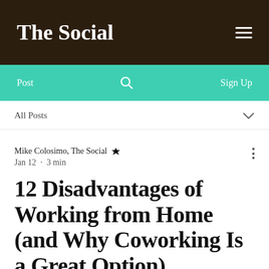The Social
Post  Sign Up
All Posts
Mike Colosimo, The Social  Jan 12 · 3 min
12 Disadvantages of Working from Home (and Why Coworking Is a Great Option)